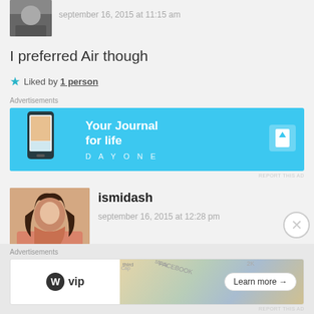[Figure (photo): Small avatar photo of a person, partially cropped at top]
september 16, 2015 at 11:15 am
I preferred Air though
Liked by 1 person
Advertisements
[Figure (screenshot): Day One journal app advertisement banner with teal background, phone image, text 'Your Journal for life' and DAYONE logo]
REPORT THIS AD
[Figure (photo): Profile photo of ismidash - young woman with long dark hair, smiling]
ismidash
september 16, 2015 at 12:28 pm
Advertisements
[Figure (screenshot): WordPress VIP advertisement with map background and Learn more button]
REPORT THIS AD